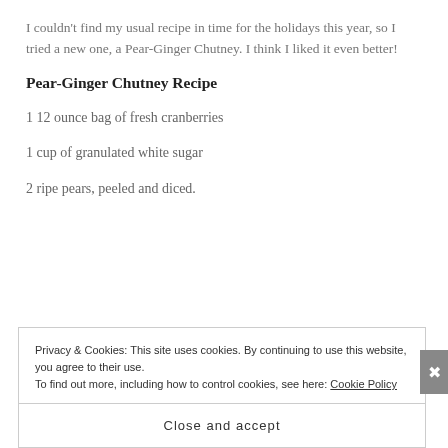I couldn't find my usual recipe in time for the holidays this year, so I tried a new one, a Pear-Ginger Chutney. I think I liked it even better!
Pear-Ginger Chutney Recipe
1 12 ounce bag of fresh cranberries
1 cup of granulated white sugar
2 ripe pears, peeled and diced.
Privacy & Cookies: This site uses cookies. By continuing to use this website, you agree to their use. To find out more, including how to control cookies, see here: Cookie Policy
Close and accept